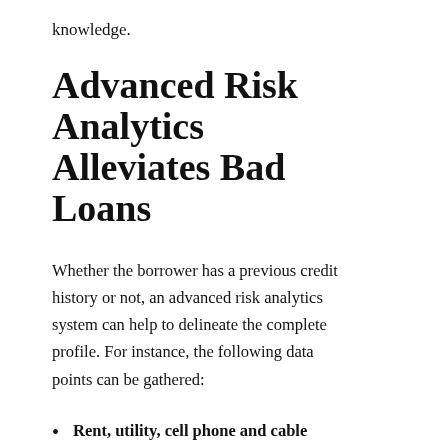knowledge.
Advanced Risk Analytics Alleviates Bad Loans
Whether the borrower has a previous credit history or not, an advanced risk analytics system can help to delineate the complete profile. For instance, the following data points can be gathered:
Rent, utility, cell phone and cable payments – A bank statement analysis can